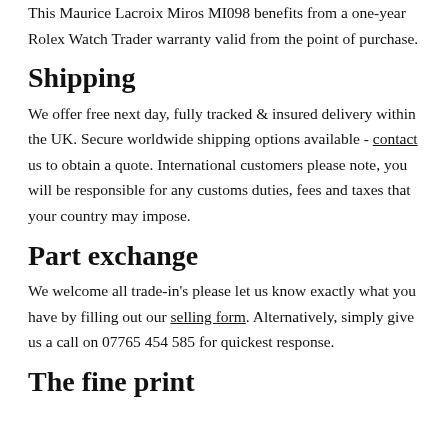This Maurice Lacroix Miros MI098 benefits from a one-year Rolex Watch Trader warranty valid from the point of purchase.
Shipping
We offer free next day, fully tracked & insured delivery within the UK. Secure worldwide shipping options available - contact us to obtain a quote. International customers please note, you will be responsible for any customs duties, fees and taxes that your country may impose.
Part exchange
We welcome all trade-in's please let us know exactly what you have by filling out our selling form. Alternatively, simply give us a call on 07765 454 585 for quickest response.
The fine print